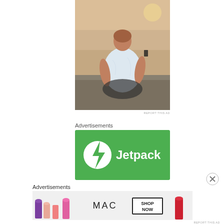[Figure (photo): Person sitting with back to camera on rocks at sunset, holding a phone up, wearing white t-shirt]
REPORT THIS AD
Advertisements
[Figure (logo): Jetpack logo — white lightning bolt in circle on green background with 'Jetpack' text in white]
Advertisements
[Figure (photo): MAC Cosmetics advertisement showing lipsticks in purple, pink, coral colors with MAC logo and SHOP NOW button]
REPORT THIS AD